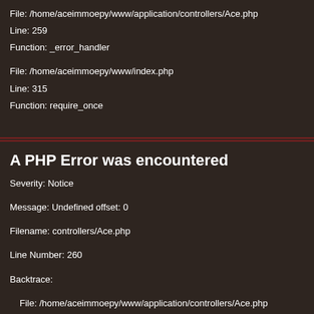File: /home/aceimmoepy/www/application/controllers/Ace.php
Line: 259
Function: _error_handler
File: /home/aceimmoepy/www/index.php
Line: 315
Function: require_once
A PHP Error was encountered
Severity: Notice
Message: Undefined offset: 0
Filename: controllers/Ace.php
Line Number: 260
Backtrace:
File: /home/aceimmoepy/www/application/controllers/Ace.php